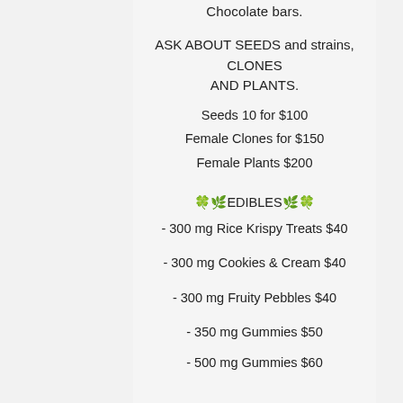Chocolate bars.
ASK ABOUT SEEDS and strains, CLONES AND PLANTS.
Seeds 10 for $100
Female Clones for $150
Female Plants $200
🍀🌿EDIBLES🌿🍀
- 300 mg Rice Krispy Treats $40
- 300 mg Cookies & Cream $40
- 300 mg Fruity Pebbles $40
- 350 mg Gummies $50
- 500 mg Gummies $60